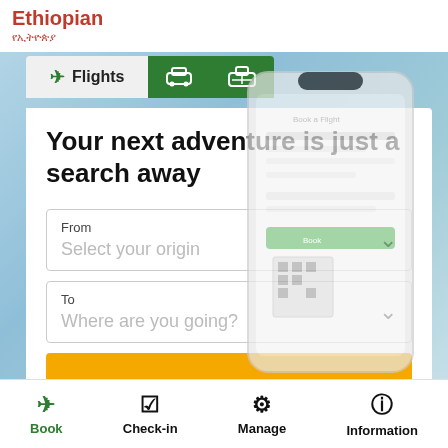[Figure (screenshot): Ethiopian Airlines mobile app screenshot showing flight booking interface with logo, navigation tabs, headline text, origin/destination dropdowns, and bottom navigation bar]
Ethiopian / የኢትዮጵያ
Flights
Your next adventure is just a search away
From
Select your origin
To
Where are you going?
Book  Check-in  Manage  Information